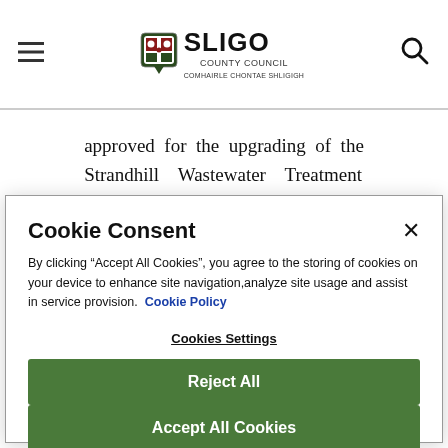Sligo County Council
approved for the upgrading of the Strandhill Wastewater Treatment Plant".
Cookie Consent
By clicking “Accept All Cookies”, you agree to the storing of cookies on your device to enhance site navigation,analyze site usage and assist in service provision.  Cookie Policy
Cookies Settings
Reject All
Accept All Cookies